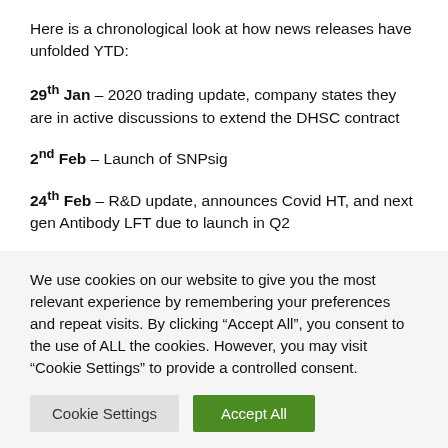Here is a chronological look at how news releases have unfolded YTD:
29th Jan – 2020 trading update, company states they are in active discussions to extend the DHSC contract
2nd Feb – Launch of SNPsig
24th Feb – R&D update, announces Covid HT, and next gen Antibody LFT due to launch in Q2
We use cookies on our website to give you the most relevant experience by remembering your preferences and repeat visits. By clicking "Accept All", you consent to the use of ALL the cookies. However, you may visit "Cookie Settings" to provide a controlled consent.